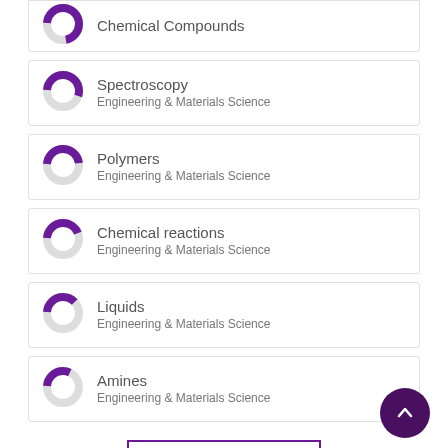Chemical Compounds - Engineering & Materials Science
Spectroscopy - Engineering & Materials Science
Polymers - Engineering & Materials Science
Chemical reactions - Engineering & Materials Science
Liquids - Engineering & Materials Science
Amines - Engineering & Materials Science
View full fingerprint >